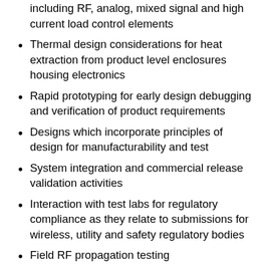including RF, analog, mixed signal and high current load control elements
Thermal design considerations for heat extraction from product level enclosures housing electronics
Rapid prototyping for early design debugging and verification of product requirements
Designs which incorporate principles of design for manufacturability and test
System integration and commercial release validation activities
Interaction with test labs for regulatory compliance as they relate to submissions for wireless, utility and safety regulatory bodies
Field RF propagation testing